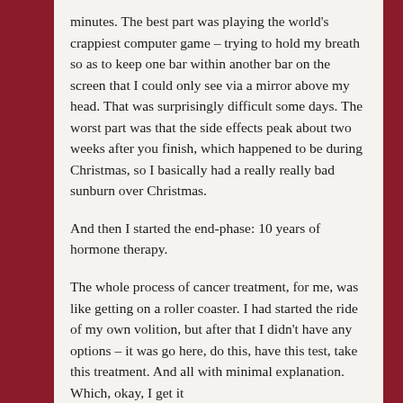minutes. The best part was playing the world's crappiest computer game – trying to hold my breath so as to keep one bar within another bar on the screen that I could only see via a mirror above my head. That was surprisingly difficult some days. The worst part was that the side effects peak about two weeks after you finish, which happened to be during Christmas, so I basically had a really really bad sunburn over Christmas.
And then I started the end-phase: 10 years of hormone therapy.
The whole process of cancer treatment, for me, was like getting on a roller coaster. I had started the ride of my own volition, but after that I didn't have any options – it was go here, do this, have this test, take this treatment. And all with minimal explanation. Which, okay, I get it